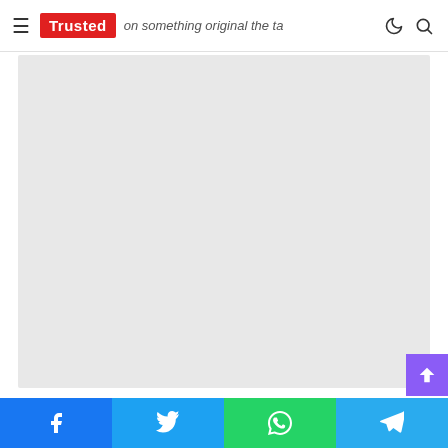≡ Trusted | something original the ta...
[Figure (photo): Large light grey placeholder image area, roughly 412x333px, representing a main article image.]
Social share buttons: Facebook, Twitter, WhatsApp, Telegram